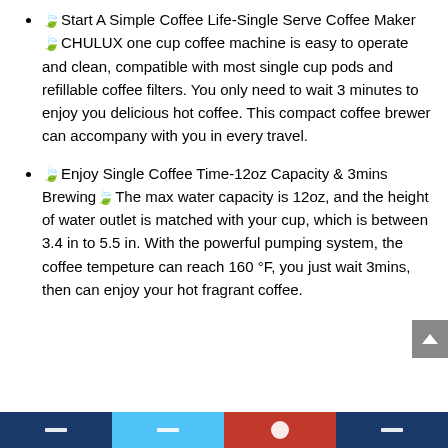🍃Start A Simple Coffee Life-Single Serve Coffee Maker🍃CHULUX one cup coffee machine is easy to operate and clean, compatible with most single cup pods and refillable coffee filters. You only need to wait 3 minutes to enjoy you delicious hot coffee. This compact coffee brewer can accompany with you in every travel.
🍃Enjoy Single Coffee Time-12oz Capacity & 3mins Brewing🍃The max water capacity is 12oz, and the height of water outlet is matched with your cup, which is between 3.4 in to 5.5 in. With the powerful pumping system, the coffee tempeture can reach 160 °F, you just wait 3mins, then can enjoy your hot fragrant coffee.